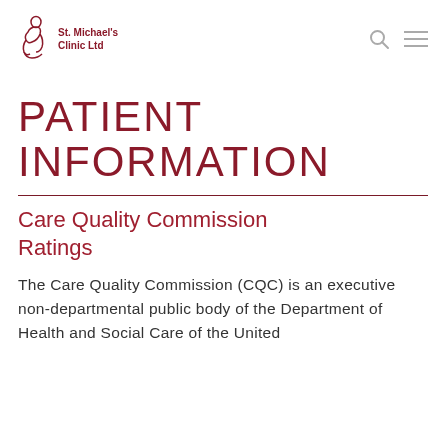St. Michael's Clinic Ltd
PATIENT INFORMATION
Care Quality Commission Ratings
The Care Quality Commission (CQC) is an executive non-departmental public body of the Department of Health and Social Care of the United